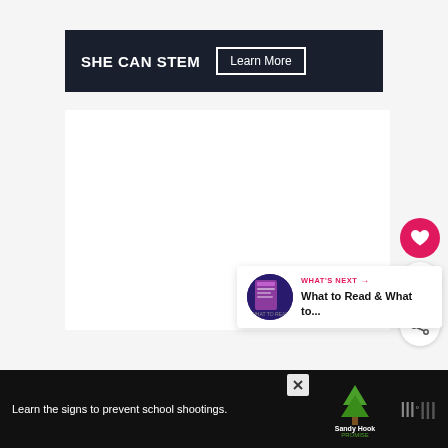[Figure (screenshot): SHE CAN STEM banner advertisement with dark background showing title 'SHE CAN STEM' in bold white text and a 'Learn More' button with white border]
[Figure (infographic): Pink heart like button with count of 1 and share icon button below it on right side of page]
[Figure (infographic): What's Next card showing a book cover thumbnail and text 'What to Read & What to...']
[Figure (screenshot): Bottom advertisement bar with dark background reading 'Learn the signs to prevent school shootings.' with Sandy Hook Promise logo]